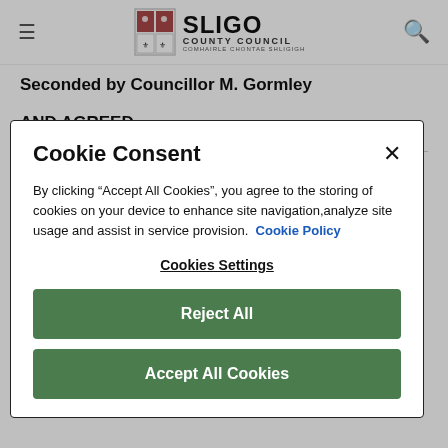Sligo County Council
Seconded by Councillor M. Gormley
AND AGREED
[Figure (screenshot): Cookie consent modal dialog with title 'Cookie Consent', close button (×), body text about accepting cookies, a 'Cookie Policy' link, 'Cookies Settings' link, 'Reject All' button, and 'Accept All Cookies' button.]